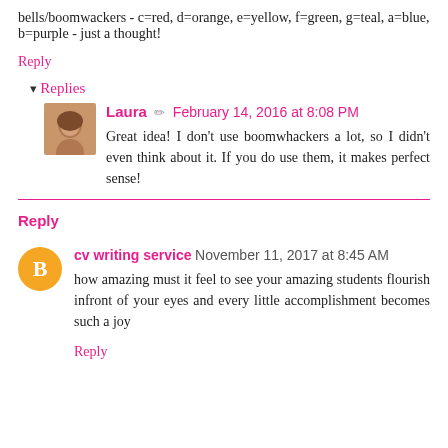bells/boomwackers - c=red, d=orange, e=yellow, f=green, g=teal, a=blue, b=purple - just a thought!
Reply
Replies
[Figure (photo): Profile photo of Laura - woman with brown hair]
Laura  February 14, 2016 at 8:08 PM
Great idea! I don't use boomwhackers a lot, so I didn't even think about it. If you do use them, it makes perfect sense!
Reply
cv writing service  November 11, 2017 at 8:45 AM
how amazing must it feel to see your amazing students flourish infront of your eyes and every little accomplishment becomes such a joy
Reply